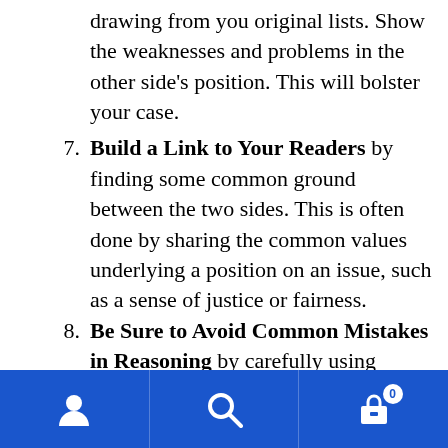drawing from you original lists. Show the weaknesses and problems in the other side's position. This will bolster your case.
Build a Link to Your Readers by finding some common ground between the two sides. This is often done by sharing the common values underlying a position on an issue, such as a sense of justice or fairness.
Be Sure to Avoid Common Mistakes in Reasoning by carefully using inductive and deductive reasoning. Inductive reasoning means: you arrive at a conclusion based on several facts. Deductive reasoning means you reach a conclusion based on premises, which may or may not be proven true. Also be sure…
Navigation bar with user, search, and cart (0) icons